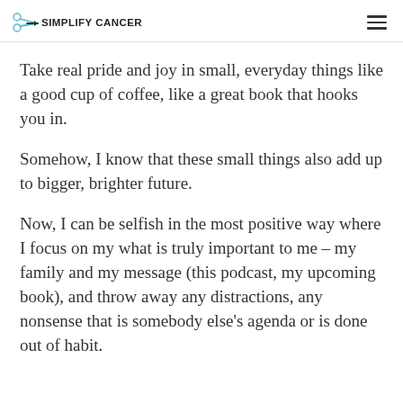SIMPLIFY CANCER
Take real pride and joy in small, everyday things like a good cup of coffee, like a great book that hooks you in.
Somehow, I know that these small things also add up to bigger, brighter future.
Now, I can be selfish in the most positive way where I focus on my what is truly important to me – my family and my message (this podcast, my upcoming book), and throw away any distractions, any nonsense that is somebody else's agenda or is done out of habit.